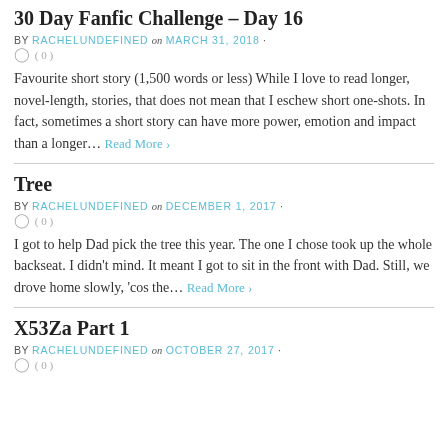30 Day Fanfic Challenge – Day 16
BY RACHELUNDEFINED on MARCH 31, 2018 · ( 0 )
Favourite short story (1,500 words or less) While I love to read longer, novel-length, stories, that does not mean that I eschew short one-shots. In fact, sometimes a short story can have more power, emotion and impact than a longer… Read More ›
Tree
BY RACHELUNDEFINED on DECEMBER 1, 2017 · ( 0 )
I got to help Dad pick the tree this year. The one I chose took up the whole backseat. I didn't mind. It meant I got to sit in the front with Dad. Still, we drove home slowly, 'cos the… Read More ›
X53Za Part 1
BY RACHELUNDEFINED on OCTOBER 27, 2017 · ( 0 )